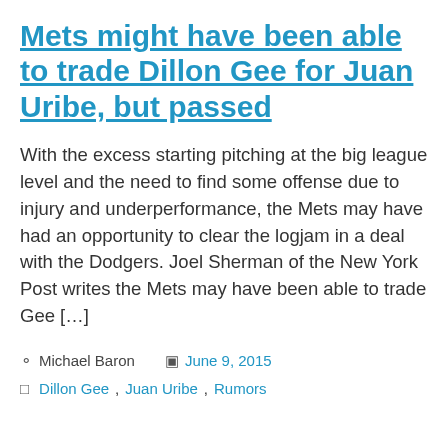Mets might have been able to trade Dillon Gee for Juan Uribe, but passed
With the excess starting pitching at the big league level and the need to find some offense due to injury and underperformance, the Mets may have had an opportunity to clear the logjam in a deal with the Dodgers. Joel Sherman of the New York Post writes the Mets may have been able to trade Gee […]
Michael Baron | June 9, 2015
Dillon Gee, Juan Uribe, Rumors